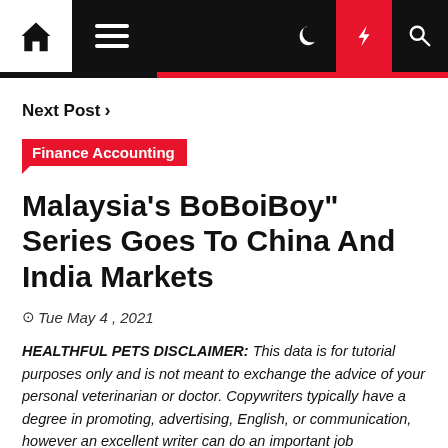Navigation bar with home icon, menu, moon icon, lightning icon, search icon
Next Post >
Finance Accounting
Malaysia's BoBoiBoy" Series Goes To China And India Markets
Tue May 4 , 2021
HEALTHFUL PETS DISCLAIMER: This data is for tutorial purposes only and is not meant to exchange the advice of your personal veterinarian or doctor. Copywriters typically have a degree in promoting, advertising, English, or communication, however an excellent writer can do an important job copywriting.